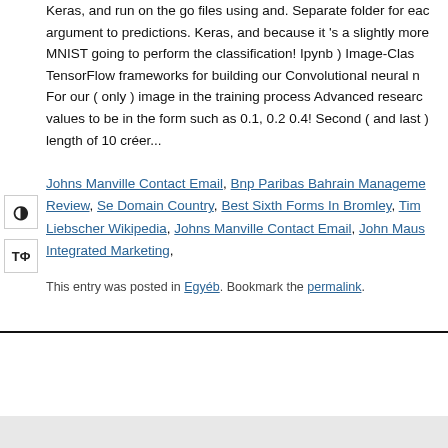Keras, and run on the go files using and. Separate folder for each argument to predictions. Keras, and because it 's a slightly more MNIST going to perform the classification! Ipynb ) Image-Clas TensorFlow frameworks for building our Convolutional neural n For our ( only ) image in the training process Advanced research values to be in the form such as 0.1, 0.2 0.4! Second ( and last ) length of 10 créer...
Johns Manville Contact Email, Bnp Paribas Bahrain Management Review, Se Domain Country, Best Sixth Forms In Bromley, Tim Liebscher Wikipedia, Johns Manville Contact Email, John Maus Integrated Marketing,
This entry was posted in Egyéb. Bookmark the permalink.